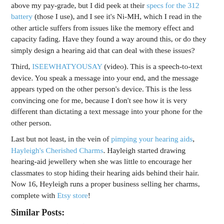above my pay-grade, but I did peek at their specs for the 312 battery (those I use), and I see it's Ni-MH, which I read in the other article suffers from issues like the memory effect and capacity fading. Have they found a way around this, or do they simply design a hearing aid that can deal with these issues?
Third, ISEEWHATYOUSAY (video). This is a speech-to-text device. You speak a message into your end, and the message appears typed on the other person's device. This is the less convincing one for me, because I don't see how it is very different than dictating a text message into your phone for the other person.
Last but not least, in the vein of pimping your hearing aids, Hayleigh's Cherished Charms. Hayleigh started drawing hearing-aid jewellery when she was little to encourage her classmates to stop hiding their hearing aids behind their hair. Now 16, Heyleigh runs a proper business selling her charms, complete with Etsy store!
Similar Posts:
Forgetting [en] (2014)
Why Do We Underestimate Hearing Loss? [en] (2014)
Tired of Batteries Falling Out of Your Hearing Aids? [en] (2014)